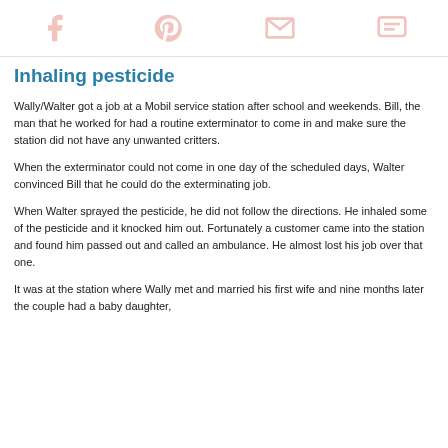[social share icons: Facebook, Pinterest, Email, Comment]
Inhaling pesticide
Wally/Walter got a job at a Mobil service station after school and weekends. Bill, the man that he worked for had a routine exterminator to come in and make sure the station did not have any unwanted critters.
When the exterminator could not come in one day of the scheduled days, Walter convinced Bill that he could do the exterminating job.
When Walter sprayed the pesticide, he did not follow the directions. He inhaled some of the pesticide and it knocked him out. Fortunately a customer came into the station and found him passed out and called an ambulance. He almost lost his job over that one.
It was at the station where Wally met and married his first wife and nine months later the couple had a baby daughter,